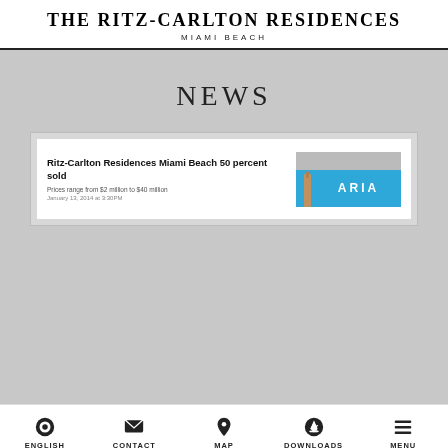THE RITZ-CARLTON RESIDENCES
MIAMI BEACH
NEWS
[Figure (screenshot): News article card showing 'Ritz-Carlton Residences Miami Beach 50 percent sold' with subtitle 'Prices range from $2 million to $40 million' dated January 13, 2014 at 3:30PM, with an ARIA branding image on the right showing a blue banner with the ARIA logo.]
ENGLISH   CONTACT   MAP   DOWNLOADS   MENU